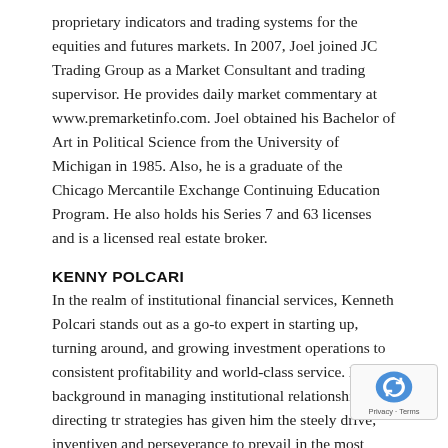proprietary indicators and trading systems for the equities and futures markets. In 2007, Joel joined JC Trading Group as a Market Consultant and trading supervisor. He provides daily market commentary at www.premarketinfo.com. Joel obtained his Bachelor of Art in Political Science from the University of Michigan in 1985. Also, he is a graduate of the Chicago Mercantile Exchange Continuing Education Program. He also holds his Series 7 and 63 licenses and is a licensed real estate broker.
KENNY POLCARI
In the realm of institutional financial services, Kenneth Polcari stands out as a go-to expert in starting up, turning around, and growing investment operations to consistent profitability and world-class service. His background in managing institutional relationships and directing tr strategies has given him the steely drive, inventiven and perseverance to prevail in the most volatile economic